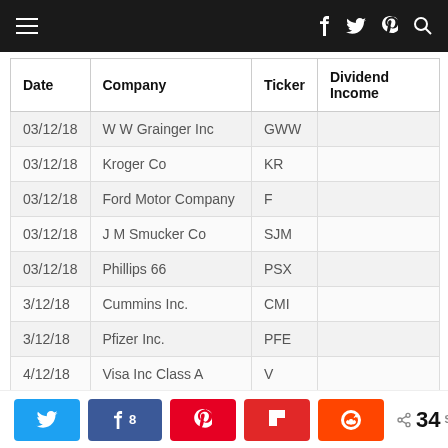| Date | Company | Ticker | Dividend Income |
| --- | --- | --- | --- |
| 03/12/18 | W W Grainger Inc | GWW |  |
| 03/12/18 | Kroger Co | KR |  |
| 03/12/18 | Ford Motor Company | F |  |
| 03/12/18 | J M Smucker Co | SJM |  |
| 03/12/18 | Phillips 66 | PSX |  |
| 3/12/18 | Cummins Inc. | CMI |  |
| 3/12/18 | Pfizer Inc. | PFE |  |
| 4/12/18 | Visa Inc Class A | V |  |
| 5/12/18 | United Parcel Service, Inc. | UPS |  |